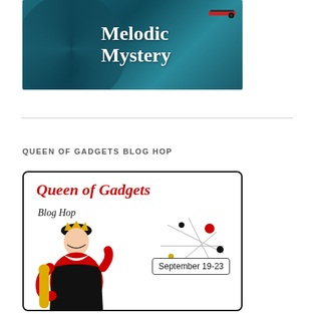[Figure (illustration): Book cover image showing 'Melodic Mystery' text in white serif font on a dark teal/blue background with a vinyl record motif]
QUEEN OF GADGETS BLOG HOP
[Figure (illustration): Queen of Gadgets Blog Hop promotional image showing a cartoon Queen of Hearts character holding a scepter, with red script title text, 'Blog Hop' subtitle, atomic/Sputnik decorative elements, and 'September 19-23' date in a box]